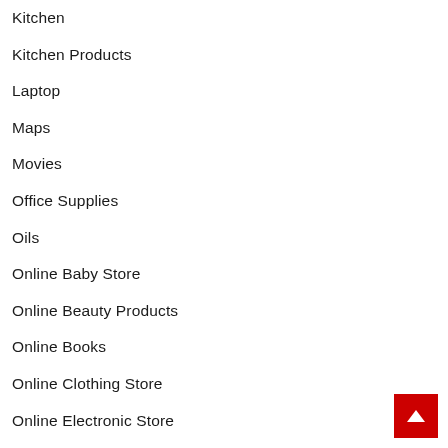Kitchen
Kitchen Products
Laptop
Maps
Movies
Office Supplies
Oils
Online Baby Store
Online Beauty Products
Online Books
Online Clothing Store
Online Electronic Store
Online Fashion Store
Online Fitness Products